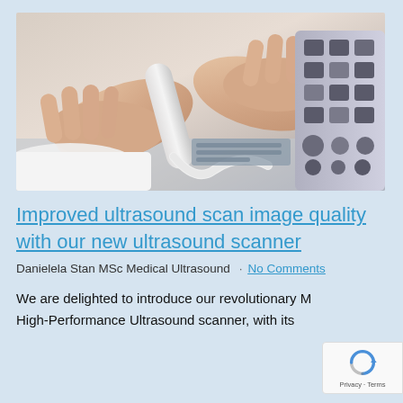[Figure (photo): Close-up photo of a person's hands holding an ultrasound probe/transducer connected to an ultrasound scanner machine with buttons and controls visible]
Improved ultrasound scan image quality with our new ultrasound scanner
Danielela Stan MSc Medical Ultrasound · No Comments
We are delighted to introduce our revolutionary M High-Performance Ultrasound scanner, with its